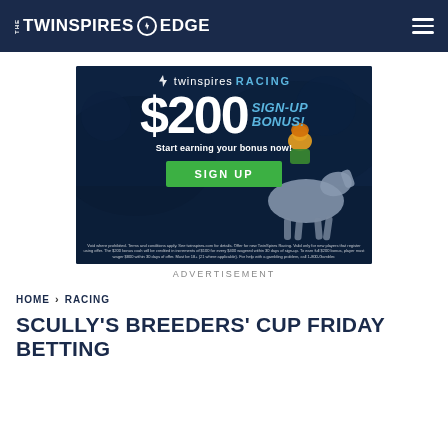THE TWINSPIRES EDGE
[Figure (advertisement): TwinSpires Racing $200 Sign-Up Bonus advertisement with jockey on horse background, green SIGN UP button, and fine print disclaimer text]
ADVERTISEMENT
HOME > RACING
SCULLY'S BREEDERS' CUP FRIDAY BETTING